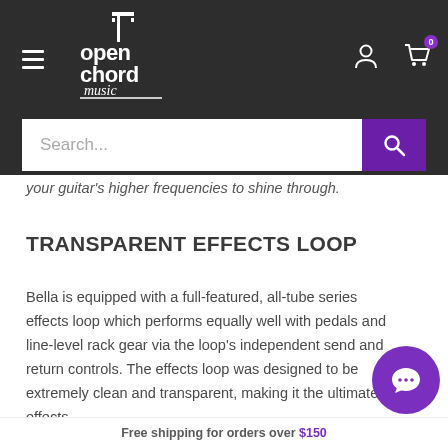Open Chord Music - Navigation header with logo, search bar, user icon and cart
your guitar's higher frequencies to shine through.
TRANSPARENT EFFECTS LOOP
Bella is equipped with a full-featured, all-tube series effects loop which performs equally well with pedals and line-level rack gear via the loop's independent send and return controls. The effects loop was designed to be extremely clean and transparent, making it the ultimate effects
Free shipping for orders over $150